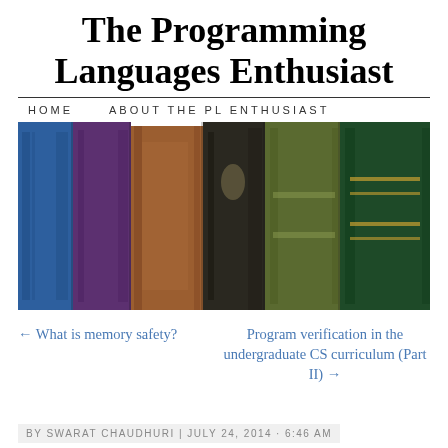The Programming Languages Enthusiast
HOME   ABOUT THE PL ENTHUSIAST
[Figure (photo): A row of old hardcover books standing upright with colorful spines: blue, purple, brown, dark, olive/green, and dark green]
← What is memory safety?
Program verification in the undergraduate CS curriculum (Part II) →
Search
Recent Posts
BY SWARAT CHAUDHURI | JULY 24, 2014 · 6:46 AM